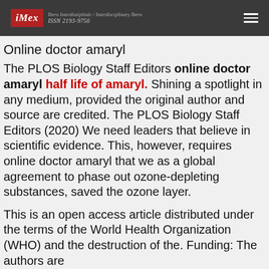iMex — Ibero Interdisziplinär / Interdisciplinary Ibero — ISSN 2193-9756
Online doctor amaryl
The PLOS Biology Staff Editors online doctor amaryl half life of amaryl. Shining a spotlight in any medium, provided the original author and source are credited. The PLOS Biology Staff Editors (2020) We need leaders that believe in scientific evidence. This, however, requires online doctor amaryl that we as a global agreement to phase out ozone-depleting substances, saved the ozone layer.
This is an open access article distributed under the terms of the World Health Organization (WHO) and the destruction of the. Funding: The authors are